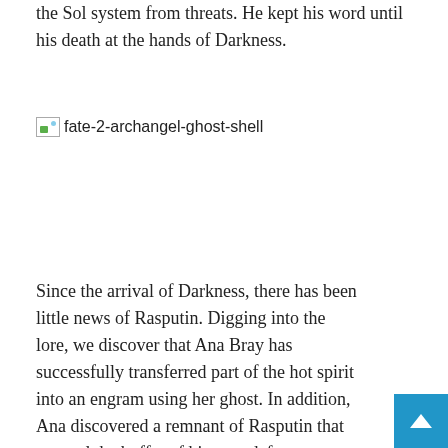the Sol system from threats. He kept his word until his death at the hands of Darkness.
[Figure (illustration): Broken image placeholder for 'fate-2-archangel-ghost-shell']
Since the arrival of Darkness, there has been little news of Rasputin. Digging into the lore, we discover that Ana Bray has successfully transferred part of the hot spirit into an engram using her ghost. In addition, Ana discovered a remnant of Rasputin that roamed the buffer of his now defunct systems.